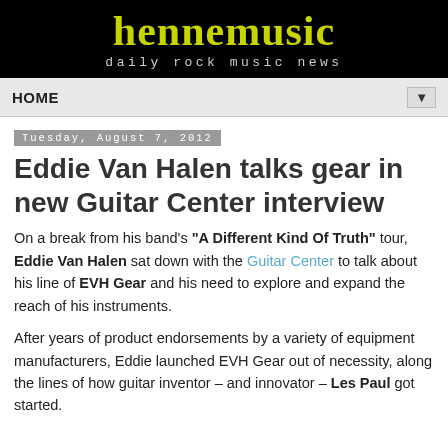hennemusic
daily rock music news
HOME
Tuesday, August 7, 2012
Eddie Van Halen talks gear in new Guitar Center interview
On a break from his band's "A Different Kind Of Truth" tour, Eddie Van Halen sat down with the Guitar Center to talk about his line of EVH Gear and his need to explore and expand the reach of his instruments.
After years of product endorsements by a variety of equipment manufacturers, Eddie launched EVH Gear out of necessity, along the lines of how guitar inventor – and innovator – Les Paul got started.